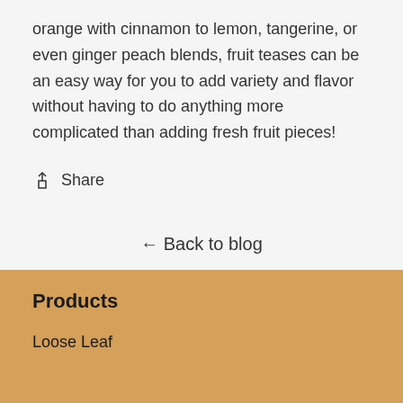orange with cinnamon to lemon, tangerine, or even ginger peach blends, fruit teases can be an easy way for you to add variety and flavor without having to do anything more complicated than adding fresh fruit pieces!
↑ Share
← Back to blog
Products
Loose Leaf